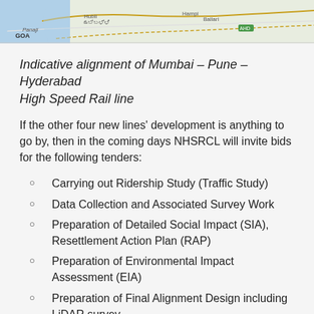[Figure (map): Partial map strip showing coastal India region including GOA, Hubli, Hampi, Bellary, with road/rail network lines. Top portion of a map of the Mumbai–Pune–Hyderabad High Speed Rail alignment.]
Indicative alignment of Mumbai – Pune – Hyderabad High Speed Rail line
If the other four new lines' development is anything to go by, then in the coming days NHSRCL will invite bids for the following tenders:
Carrying out Ridership Study (Traffic Study)
Data Collection and Associated Survey Work
Preparation of Detailed Social Impact (SIA), Resettlement Action Plan (RAP)
Preparation of Environmental Impact Assessment (EIA)
Preparation of Final Alignment Design including LiDAR survey…